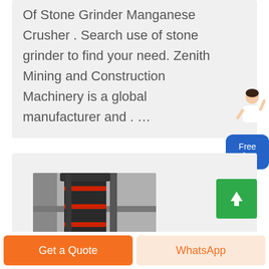Of Stone Grinder Manganese Crusher . Search use of stone grinder to find your need. Zenith Mining and Construction Machinery is a global manufacturer and . …
[Figure (illustration): Customer service representative / chat support person illustration next to a blue 'Free chat' button widget]
[Figure (photo): Industrial stone crusher / grinder machinery equipment, tall cylindrical black machine with red bands, photographed indoors]
[Figure (other): Green scroll-to-top button with white upward arrow]
Get a Quote
WhatsApp